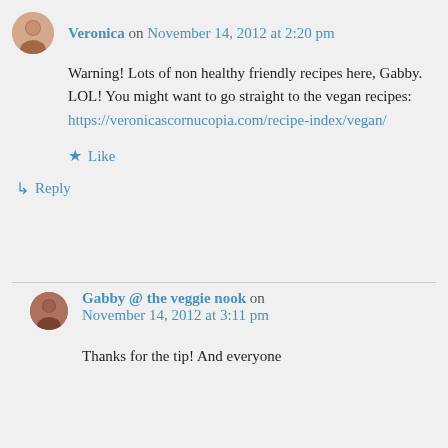Veronica on November 14, 2012 at 2:20 pm
Warning! Lots of non healthy friendly recipes here, Gabby. LOL! You might want to go straight to the vegan recipes: https://veronicascornucopia.com/recipe-index/vegan/
★ Like
↳ Reply
Gabby @ the veggie nook on November 14, 2012 at 3:11 pm
Thanks for the tip! And everyone